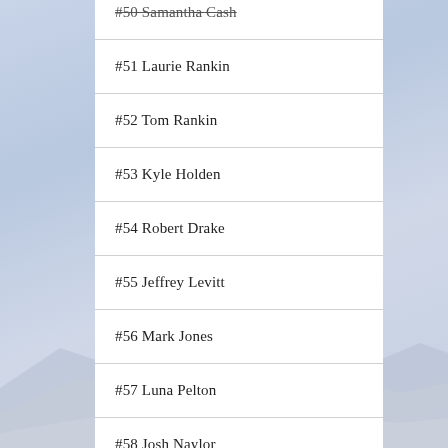#50 Samantha Cash
#51 Laurie Rankin
#52 Tom Rankin
#53 Kyle Holden
#54 Robert Drake
#55 Jeffrey Levitt
#56 Mark Jones
#57 Luna Pelton
#58 Josh Naylor
#59 Justin McNaughten